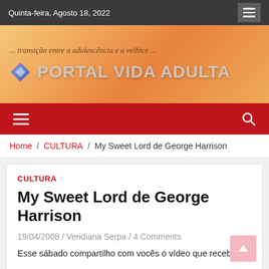Quinta-feira, Agosto 18, 2022
[Figure (logo): Portal Vida Adulta banner with tagline '... transição entre a adolescência e a velhice ...' and logo with diamond icon]
Home / CULTURA / My Sweet Lord de George Harrison
CULTURA
My Sweet Lord de George Harrison
19/04/2008 / Veridiana Serpa / 4 Comments
Esse sábado compartilho com vocês o vídeo que recebi